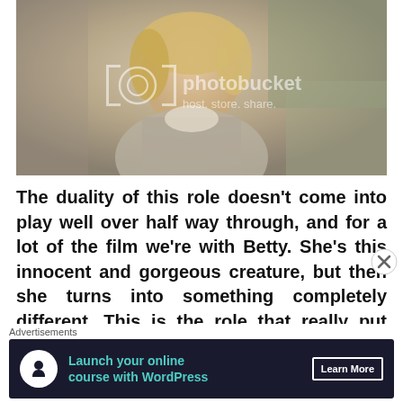[Figure (photo): A smiling blonde woman looking upward, wearing a light blazer, with a Photobucket watermark overlay reading 'photobucket host. store. share.']
The duality of this role doesn't come into play well over half way through, and for a lot of the film we're with Betty. She's this innocent and gorgeous creature, but then she turns into something completely different. This is the role that really put Naomi Watts
Advertisements
[Figure (infographic): Advertisement banner: dark navy background with circular white icon showing a person/tree figure, teal bold text 'Launch your online course with WordPress', and white outlined button 'Learn More']